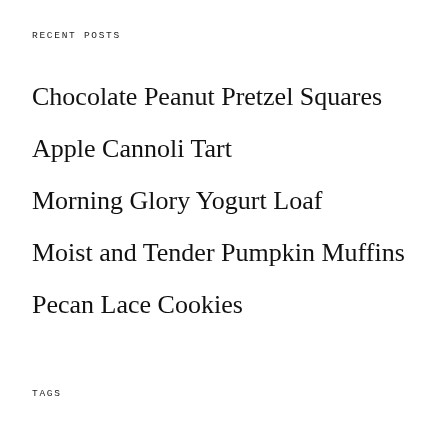RECENT POSTS
Chocolate Peanut Pretzel Squares
Apple Cannoli Tart
Morning Glory Yogurt Loaf
Moist and Tender Pumpkin Muffins
Pecan Lace Cookies
TAGS